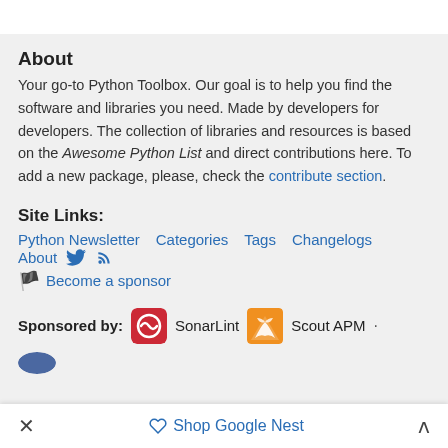About
Your go-to Python Toolbox. Our goal is to help you find the software and libraries you need. Made by developers for developers. The collection of libraries and resources is based on the Awesome Python List and direct contributions here. To add a new package, please, check the contribute section.
Site Links:
Python Newsletter   Categories   Tags   Changelogs
About  [Twitter icon]  [RSS icon]
[flag] Become a sponsor
Sponsored by:  SonarLint  Scout APM  ·
× Shop Google Nest ^